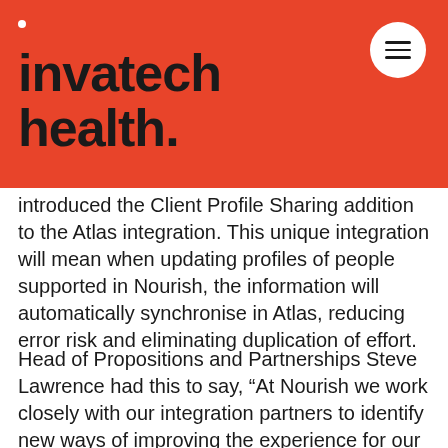invatech health.
introduced the Client Profile Sharing addition to the Atlas integration. This unique integration will mean when updating profiles of people supported in Nourish, the information will automatically synchronise in Atlas, reducing error risk and eliminating duplication of effort.
Head of Propositions and Partnerships Steve Lawrence had this to say, “At Nourish we work closely with our integration partners to identify new ways of improving the experience for our customers. By introducing the Client Profile Sharing integration we hope